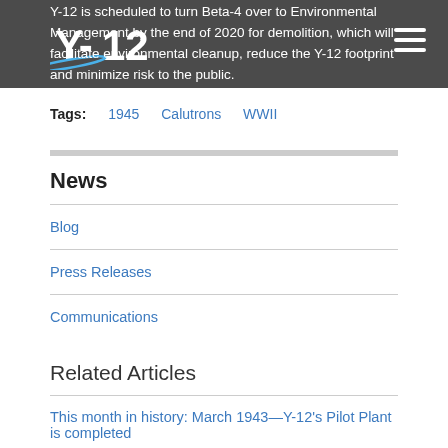Y-12 is scheduled to turn Beta-4 over to Environmental Management by the end of 2020 for demolition, which will facilitate environmental cleanup, reduce the Y-12 footprint and minimize risk to the public.
Tags: 1945   Calutrons   WWII
News
Blog
Press Releases
Communications
Related Articles
This month in history: March 1943—Y-12's Pilot Plant is completed
More...